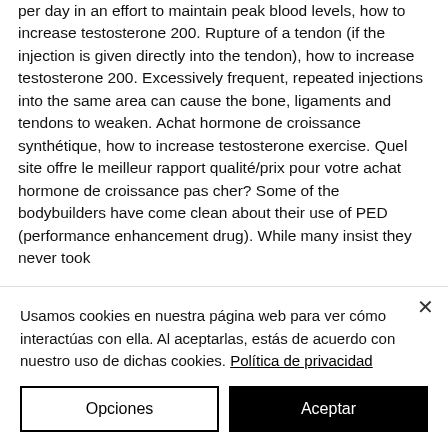per day in an effort to maintain peak blood levels, how to increase testosterone 200. Rupture of a tendon (if the injection is given directly into the tendon), how to increase testosterone 200. Excessively frequent, repeated injections into the same area can cause the bone, ligaments and tendons to weaken. Achat hormone de croissance synthétique, how to increase testosterone exercise. Quel site offre le meilleur rapport qualité/prix pour votre achat hormone de croissance pas cher? Some of the bodybuilders have come clean about their use of PED (performance enhancement drug). While many insist they never took
Usamos cookies en nuestra página web para ver cómo interactúas con ella. Al aceptarlas, estás de acuerdo con nuestro uso de dichas cookies. Política de privacidad